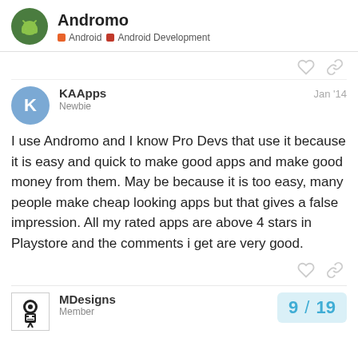Andromo — Android | Android Development
I use Andromo and I know Pro Devs that use it because it is easy and quick to make good apps and make good money from them. May be because it is too easy, many people make cheap looking apps but that gives a false impression. All my rated apps are above 4 stars in Playstore and the comments i get are very good.
KAApps Newbie Jan '14
MDesigns Member 9 / 19